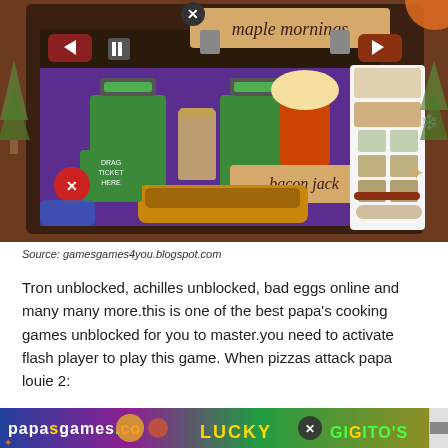[Figure (screenshot): Screenshot of a cooking/restaurant game showing 'maple mornings' level with a hot dog labeled 'bacon jack', green drink stations, popcorn, and a menu panel on the right. Brown gingerbread-themed border around the game screen.]
Source: gamesgames4you.blogspot.com
Tron unblocked, achilles unblocked, bad eggs online and many many more.this is one of the best papa's cooking games unblocked for you to master.you need to activate flash player to play this game. When pizzas attack papa louie 2:
[Figure (screenshot): Partial screenshot of papasgames.co website banner showing colorful game logos including 'LUCKY' and 'GIGITO'S' with psychedelic colors.]